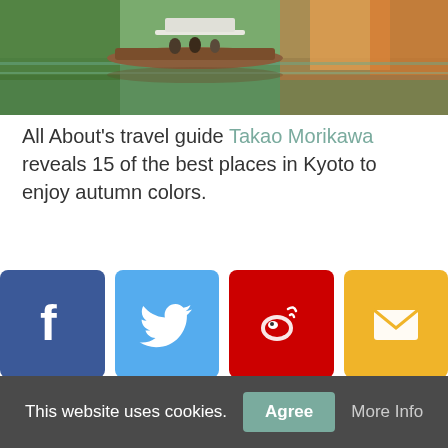[Figure (photo): Scenic view of a wooden boat on a calm river with autumn-colored trees reflected in the water]
All About's travel guide Takao Morikawa reveals 15 of the best places in Kyoto to enjoy autumn colors.
[Figure (infographic): Four social share buttons: Facebook (blue), Twitter (light blue), Weibo (red), Email (yellow)]
This website uses cookies. Agree More Info